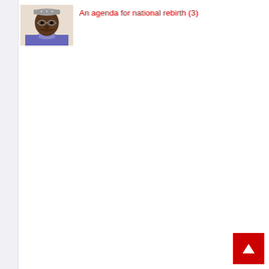[Figure (photo): Portrait photo of a man wearing a cap and traditional attire, resting his chin on his hand]
An agenda for national rebirth (3)